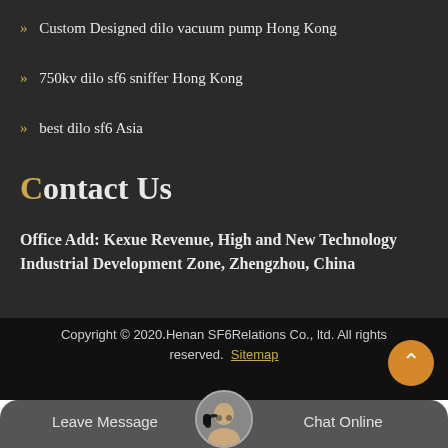Custom Designed dilo vacuum pump Hong Kong
750kv dilo sf6 sniffer Hong Kong
best dilo sf6 Asia
Contact Us
Office Add: Kexue Revenue, High and New Technology Industrial Development Zone, Zhengzhou, China
Copyright © 2020.Henan SF6Relations Co., ltd. All rights reserved. Sitemap
Leave Message
Chat Online